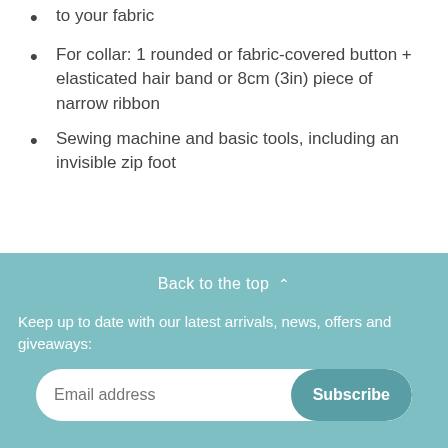to your fabric
For collar: 1 rounded or fabric-covered button + elasticated hair band or 8cm (3in) piece of narrow ribbon
Sewing machine and basic tools, including an invisible zip foot
Back to the top
Keep up to date with our latest arrivals, news, offers and giveaways: